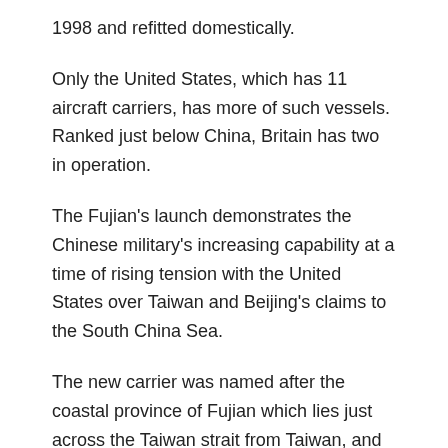1998 and refitted domestically.
Only the United States, which has 11 aircraft carriers, has more of such vessels. Ranked just below China, Britain has two in operation.
The Fujian's launch demonstrates the Chinese military's increasing capability at a time of rising tension with the United States over Taiwan and Beijing's claims to the South China Sea.
The new carrier was named after the coastal province of Fujian which lies just across the Taiwan strait from Taiwan, and is the home of the Eastern Theater Command of the People's Liberation Army.
Taiwan is a self-ruled thriving democracy. But China considers Taiwan its own territory and has never renounced the use of force to bring the island under Beijing's control.